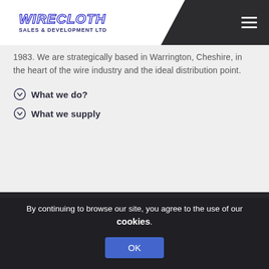[Figure (logo): Wirecloth Sales & Development Ltd company logo in blue/purple outlined lettering]
1983. We are strategically based in Warrington, Cheshire, in the heart of the wire industry and the ideal distribution point.
What we do?
What we supply
By continuing to browse our site, you agree to the use of our cookies.
OK